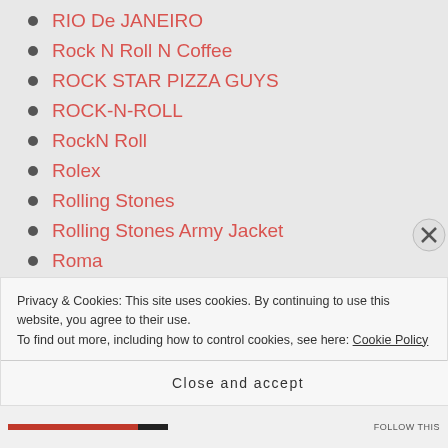RIO De JANEIRO
Rock N Roll N Coffee
ROCK STAR PIZZA GUYS
ROCK-N-ROLL
RockN Roll
Rolex
Rolling Stones
Rolling Stones Army Jacket
Roma
Rome
Saint Anthony
Privacy & Cookies: This site uses cookies. By continuing to use this website, you agree to their use.
To find out more, including how to control cookies, see here: Cookie Policy
Close and accept